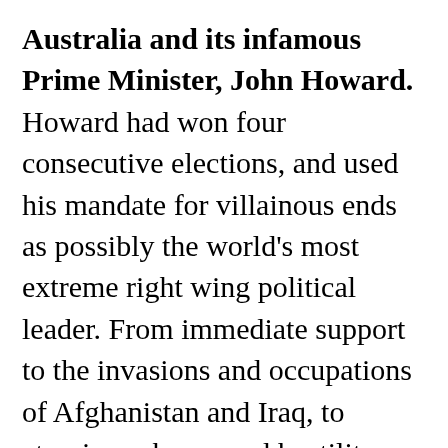Australia and its infamous Prime Minister, John Howard. Howard had won four consecutive elections, and used his mandate for villainous ends as possibly the world's most extreme right wing political leader. From immediate support to the invasions and occupations of Afghanistan and Iraq, to atrocious abuses and hostility shown toward refugees, repeatedly condemned by UN agencies for his government's treatment of refugees